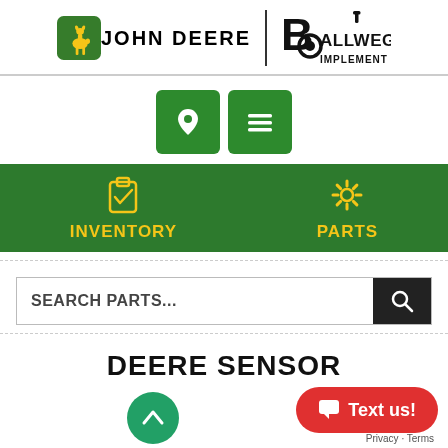[Figure (logo): John Deere logo with leaping deer in green rounded square, text JOHN DEERE, vertical divider, Ballweg Implement logo with gear/wheel icon]
[Figure (infographic): Two green square navigation buttons: location pin icon and hamburger menu icon]
[Figure (infographic): Green navigation bar with INVENTORY (clipboard icon) and PARTS (gear icon) in yellow]
SEARCH PARTS...
DEERE SENSOR